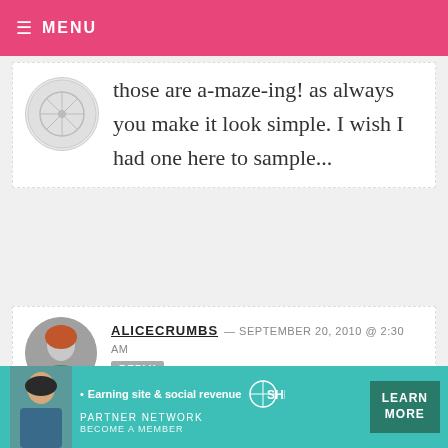MENU
those are a-maze-ing! as always you make it look simple. I wish I had one here to sample...
ALICECRUMBS — SEPTEMBER 20, 2010 @ 2:30 AM  REPLY
Magic! Can't believe you managed to do that AND take pictures!!
[Figure (infographic): SHE Partner Network advertisement banner — Earning site & social revenue, Learn More button]